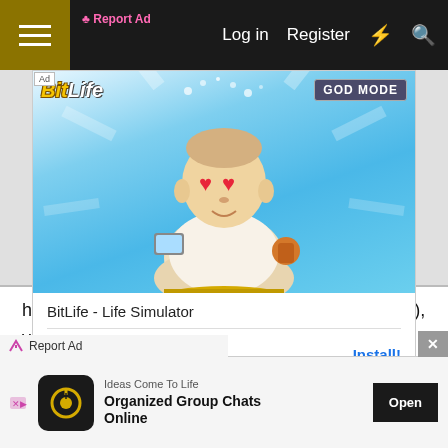Log in  Register
[Figure (screenshot): BitLife - Life Simulator app advertisement showing a cartoon Buddha figure with heart eyes holding a phone, with BitLife logo and GOD MODE badge on blue background]
BitLife - Life Simulator
Candywriter, LLC
Install!
Report Ad
hot (soldering temperature is usually above 350C), very clean, and fluxed with something, because solder wick doesn't work if the copper is at all oxidized.
Report Ad
[Figure (screenshot): Bottom advertisement: Ideas Come To Life - Organized Group Chats Online with Open button]